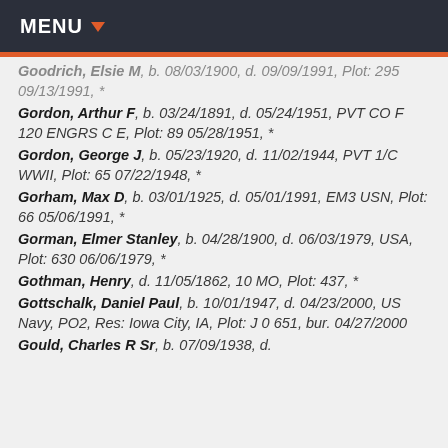MENU
Goodrich, Elsie M, b. 08/03/1900, d. 09/09/1991, Plot: 295 09/13/1991, *
Gordon, Arthur F, b. 03/24/1891, d. 05/24/1951, PVT CO F 120 ENGRS C E, Plot: 89 05/28/1951, *
Gordon, George J, b. 05/23/1920, d. 11/02/1944, PVT 1/C WWII, Plot: 65 07/22/1948, *
Gorham, Max D, b. 03/01/1925, d. 05/01/1991, EM3 USN, Plot: 66 05/06/1991, *
Gorman, Elmer Stanley, b. 04/28/1900, d. 06/03/1979, USA, Plot: 630 06/06/1979, *
Gothman, Henry, d. 11/05/1862, 10 MO, Plot: 437, *
Gottschalk, Daniel Paul, b. 10/01/1947, d. 04/23/2000, US Navy, PO2, Res: Iowa City, IA, Plot: J 0 651, bur. 04/27/2000
Gould, Charles R Sr, b. 07/09/1938, d.